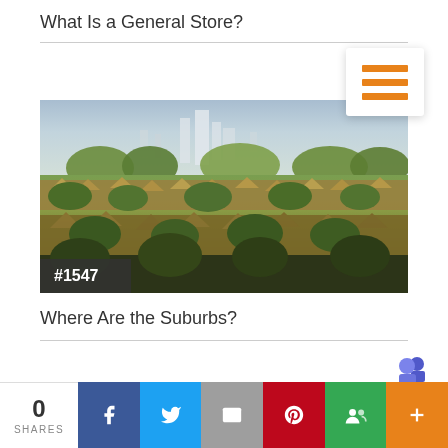What Is a General Store?
[Figure (photo): Aerial view of a suburban area with rows of houses and trees, city skyline visible in the background. Badge overlay reads #1547.]
#1547
Where Are the Suburbs?
0 SHARES — Social share buttons: Facebook, Twitter, Email, Pinterest, Groups, More